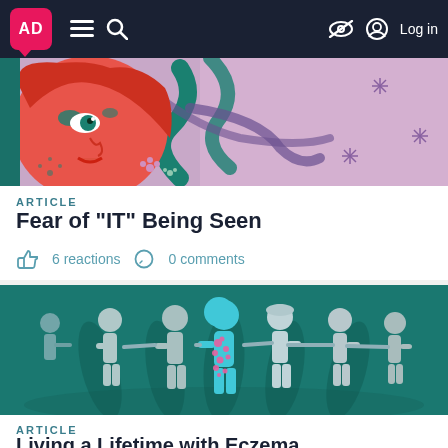AD | navigation menu search | Log in
[Figure (illustration): Colorful illustration of a woman's face with teal skin and red/orange hair, surrounded by swirling pink and teal serpentine shapes, flowers, and star-burst patterns on a purple/pink background]
ARTICLE
Fear of "IT" Being Seen
6 reactions  0 comments
[Figure (illustration): Illustration on a teal background showing a row of paper-doll-style human figures holding hands. The central figure is bright teal/cyan with pink spots (representing eczema) and appears to look downward, standing out from the surrounding grey/white figures.]
ARTICLE
Living a Lifetime with Eczema